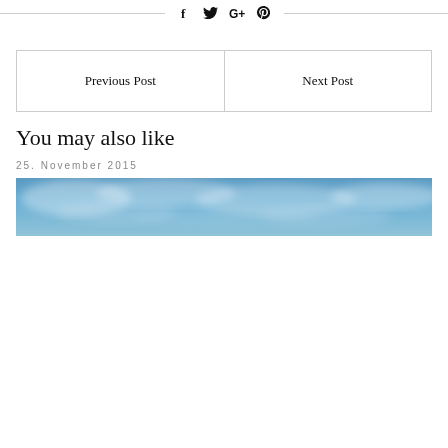[Figure (other): Social share icons row: Facebook, Twitter, Google+, Pinterest with horizontal lines on each side]
| Previous Post | Next Post |
You may also like
25. November 2015
[Figure (photo): Wide panoramic photo of a blue sky with clouds]